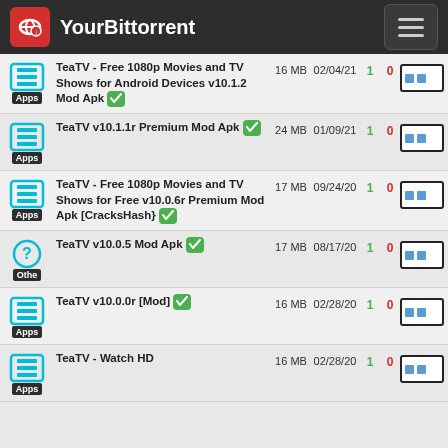YourBittorrent
| Category | Name | Size | Date | SE | LE | DL |
| --- | --- | --- | --- | --- | --- | --- |
| Apps | TeaTV - Free 1080p Movies and TV Shows for Android Devices v10.1.2 Mod Apk ✓ | 16 MB | 02/04/21 | 1 | 0 |  |
| Apps | TeaTV v10.1.1r Premium Mod Apk ✓ | 24 MB | 01/09/21 | 1 | 0 |  |
| Apps | TeaTV - Free 1080p Movies and TV Shows for Free v10.0.6r Premium Mod Apk [CracksHash} ✓ | 17 MB | 09/24/20 | 1 | 0 |  |
| Other | TeaTV v10.0.5 Mod Apk ✓ | 17 MB | 08/17/20 | 1 | 0 |  |
| Apps | TeaTV v10.0.0r [Mod] ✓ | 16 MB | 02/28/20 | 1 | 0 |  |
| Apps | TeaTV - Watch HD | 16 MB | 02/28/20 | 1 | 0 |  |